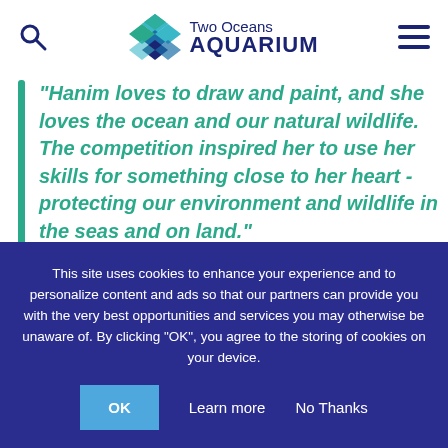Two Oceans AQUARIUM
“Hanim loves to draw and paint, and she loves the ocean and our natural wildlife. The competition inspired her to use her skills for something close to her heart - protecting our environment and wildlife in the seas and on land."
This site uses cookies to enhance your experience and to personalize content and ads so that our partners can provide you with the very best opportunities and services you may otherwise be unaware of. By clicking “OK”, you agree to the storing of cookies on your device.
OK   Learn more   No Thanks